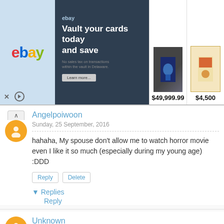[Figure (screenshot): eBay advertisement banner: 'Vault your cards today and save', showing two trading cards priced at $49,999.99 and $4,500]
Angelpoiwoon
Sunday, 25 September, 2016
hahaha, My spouse don't allow me to watch horror movie even I like it so much (especially during my young age) :DDD
Reply | Delete
▾ Replies
Reply
Unknown
Sunday, 25 September, 2016
Hahahah ghost movie? The movie name is too hilarious!
Reply | Delete
Replies